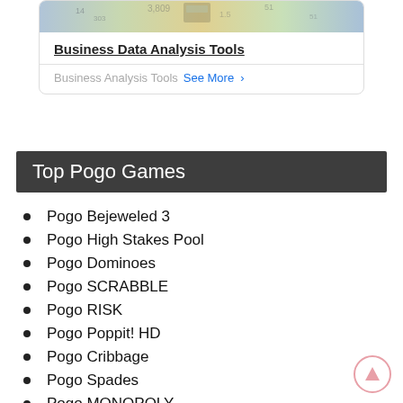[Figure (screenshot): Advertisement card with image showing calculator and numbers at top, bold title 'Business Data Analysis Tools', divider, and footer with 'Business Analysis Tools  See More >']
Top Pogo Games
Pogo Bejeweled 3
Pogo High Stakes Pool
Pogo Dominoes
Pogo SCRABBLE
Pogo RISK
Pogo Poppit! HD
Pogo Cribbage
Pogo Spades
Pogo MONOPOLY